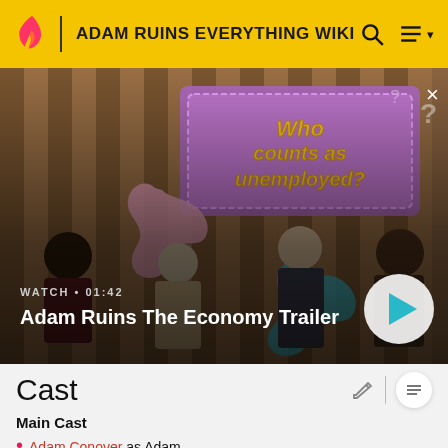ADAM RUINS EVERYTHING WIKI
[Figure (screenshot): Video thumbnail showing scene from Adam Ruins The Economy with people on a game show set with 'Who counts as unemployed?' banner. Shows WATCH • 01:42 label and play button.]
Cast
Main Cast
Adam Conover as Adam